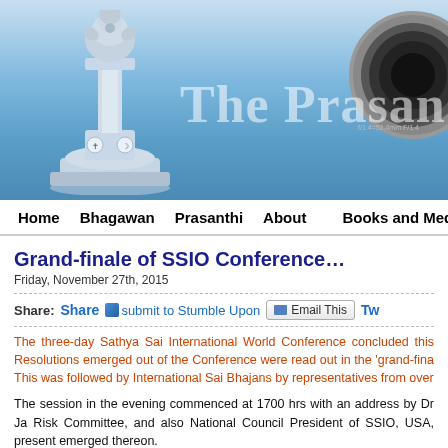[Figure (screenshot): Website header banner with blue gradient background, a monument/pillar illustration on the left, a camera lens circle on the right, and large semi-transparent text 'The Prasan' in the center-right area.]
Home   Bhagawan   Prasanthi   About   Books and Media
Grand-finale of SSIO Conference…
Friday, November 27th, 2015
Share:   Share   submit to Stumble Upon   Email This   Tw…
The three-day Sathya Sai International World Conference concluded this Resolutions emerged out of the Conference were read out in the 'grand-fina This was followed by International Sai Bhajans by representatives from over
The session in the evening commenced at 1700 hrs with an address by Dr Ja Risk Committee, and also National Council President of SSIO, USA, present emerged thereon.